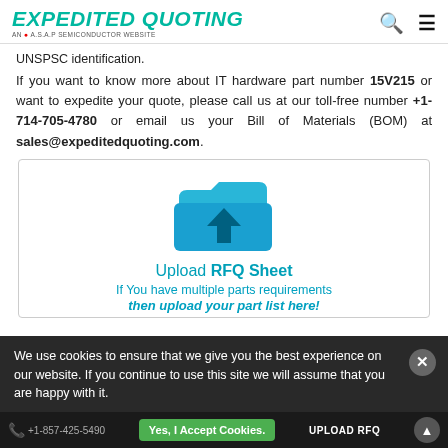EXPEDITED QUOTING — AN A.S.A.P SEMICONDUCTOR WEBSITE
UNSPSC identification.
If you want to know more about IT hardware part number 15V215 or want to expedite your quote, please call us at our toll-free number +1-714-705-4780 or email us your Bill of Materials (BOM) at sales@expeditedquoting.com.
[Figure (illustration): Upload RFQ Sheet icon: a blue folder with an upward arrow, with text 'Upload RFQ Sheet' and 'If You have multiple parts requirements then upload your part list here!']
We use cookies to ensure that we give you the best experience on our website. If you continue to use this site we will assume that you are happy with it.